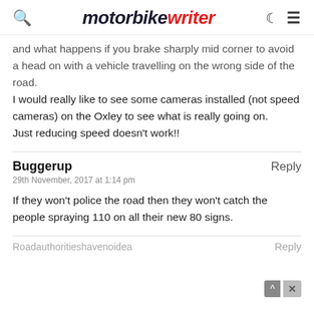motorbike writer
and what happens if you brake sharply mid corner to avoid a head on with a vehicle travelling on the wrong side of the road. I would really like to see some cameras installed (not speed cameras) on the Oxley to see what is really going on. Just reducing speed doesn't work!!
Buggerup
29th November, 2017 at 1:14 pm
If they won't police the road then they won't catch the people spraying 110 on all their new 80 signs.
Roadauthoritieshavenoidea
Reply